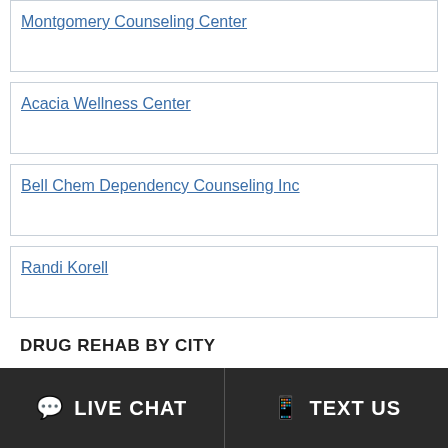Montgomery Counseling Center
Acacia Wellness Center
Bell Chem Dependency Counseling Inc
Randi Korell
DRUG REHAB BY CITY
LIVE CHAT   TEXT US